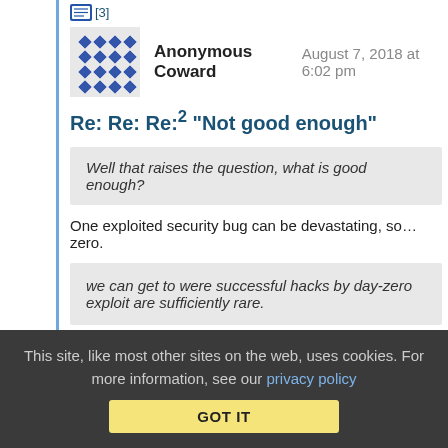[3]
Anonymous Coward   August 7, 2018 at 6:02 pm
Re: Re: Re:² "Not good enough"
Well that raises the question, what is good enough?
One exploited security bug can be devastating, so… zero.
we can get to were successful hacks by day-zero exploit are sufficiently rare.
"day-zero" or not makes little difference when, say, the data of
This site, like most other sites on the web, uses cookies. For more information, see our privacy policy
GOT IT